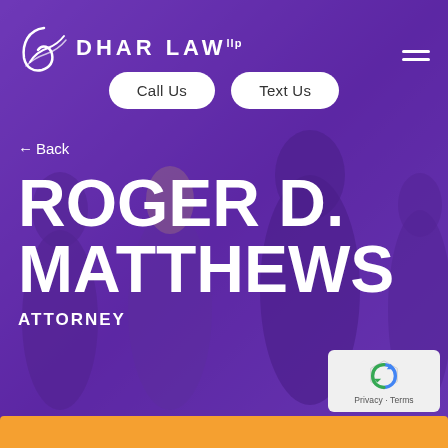[Figure (screenshot): Purple-overlay background with silhouetted figures of attorneys in formal attire]
DHAR LAW llp
Call Us
Text Us
← Back
ROGER D. MATTHEWS
ATTORNEY
[Figure (logo): reCAPTCHA logo with Privacy · Terms text]